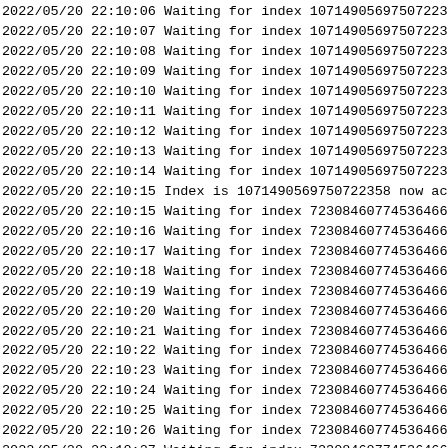2022/05/20 22:10:06 Waiting for index 1071490569750722358
2022/05/20 22:10:07 Waiting for index 1071490569750722358
2022/05/20 22:10:08 Waiting for index 1071490569750722358
2022/05/20 22:10:09 Waiting for index 1071490569750722358
2022/05/20 22:10:10 Waiting for index 1071490569750722358
2022/05/20 22:10:11 Waiting for index 1071490569750722358
2022/05/20 22:10:12 Waiting for index 1071490569750722358
2022/05/20 22:10:13 Waiting for index 1071490569750722358
2022/05/20 22:10:14 Waiting for index 1071490569750722358
2022/05/20 22:10:15 Index is 1071490569750722358 now act
2022/05/20 22:10:15 Waiting for index 72308460774536466406
2022/05/20 22:10:16 Waiting for index 72308460774536466406
2022/05/20 22:10:17 Waiting for index 72308460774536466406
2022/05/20 22:10:18 Waiting for index 72308460774536466406
2022/05/20 22:10:19 Waiting for index 72308460774536466406
2022/05/20 22:10:20 Waiting for index 72308460774536466406
2022/05/20 22:10:21 Waiting for index 72308460774536466406
2022/05/20 22:10:22 Waiting for index 72308460774536466406
2022/05/20 22:10:23 Waiting for index 72308460774536466406
2022/05/20 22:10:24 Waiting for index 72308460774536466406
2022/05/20 22:10:25 Waiting for index 72308460774536466406
2022/05/20 22:10:26 Waiting for index 72308460774536466406
2022/05/20 22:10:27 Waiting for index 72308460774536466406
2022/05/20 22:10:28 Waiting for index 72308460774536466406
2022/05/20 22:10:29 Waiting for index 72308460774536466406
2022/05/20 22:10:30 Waiting for index 72308460774536466406
2022/05/20 22:10:31 Waiting for index 72308460774536466406
2022/05/20 22:10:32 Waiting for index 72308460774536466406
2022/05/20 22:10:33 Waiting for index 72308460774536466406
2022/05/20 22:10:34 Waiting for index 72308460774536466406